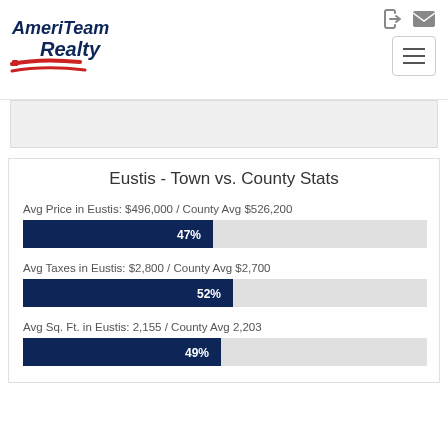[Figure (logo): AmeriTeam Realty logo with navy blue text and red swoosh/flag graphic]
Eustis - Town vs. County Stats
Avg Price in Eustis: $496,000 / County Avg $526,200
[Figure (bar-chart): Avg Price in Eustis]
Avg Taxes in Eustis: $2,800 / County Avg $2,700
[Figure (bar-chart): Avg Taxes in Eustis]
Avg Sq. Ft. in Eustis: 2,155 / County Avg 2,203
[Figure (bar-chart): Avg Sq. Ft. in Eustis]